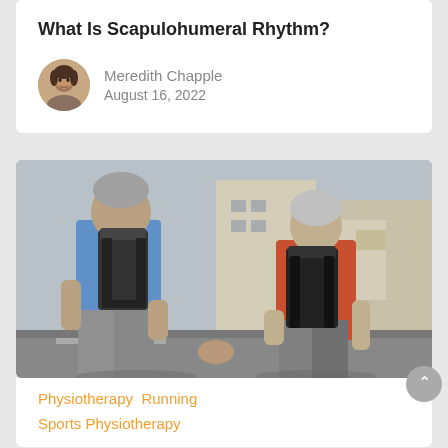What Is Scapulohumeral Rhythm?
Meredith Chapple
August 16, 2022
[Figure (photo): Two elderly people viewed from behind, walking together and holding hands. Both wear black backpacks. The person on the left wears a blue short-sleeve shirt and grey pants; the person on the right wears a floral top. Urban street setting.]
Physiotherapy  Running
Sports Physiotherapy